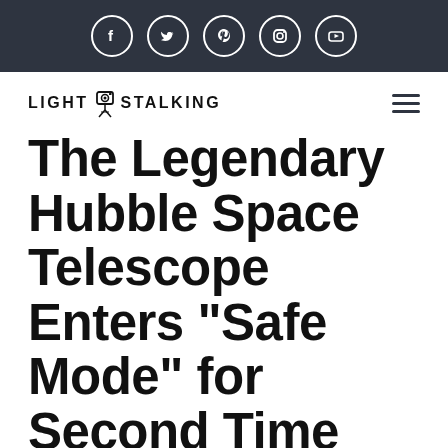Social media icons: Facebook, Twitter, Pinterest, Instagram, YouTube
[Figure (logo): LightStalking logo with camera on tripod icon, and hamburger menu icon]
The Legendary Hubble Space Telescope Enters “Safe Mode” for Second Time This Year As NASA Attempts to Work